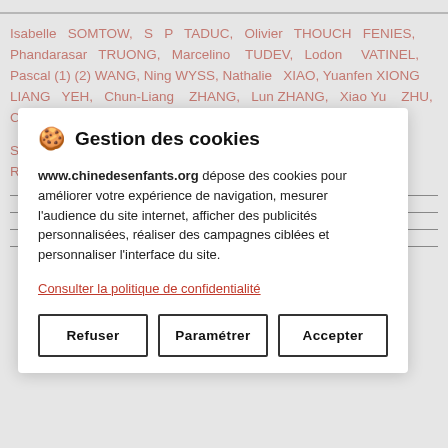Isabelle SOMTOW, S P TADUC, Olivier THOUCH FENIES, Phandarasar TRUONG, Marcelino TUDEV, Lodon VATINEL, Pascal (1) (2) WANG, Ning WYSS, Nathalie XIAO, Yuanfen XIONG LIANG YEH, Chun-Liang ZHANG, Lun ZHANG, Xiao Yu ZHU, Chengliang ZIMMERMANN N M ZOUAGHI, Alexandre
[Figure (screenshot): Cookie consent modal dialog with title 'Gestion des cookies', description text about www.chinedesenfants.org cookies, a link 'Consulter la politique de confidentialité', and three buttons: Refuser, Paramétrer, Accepter]